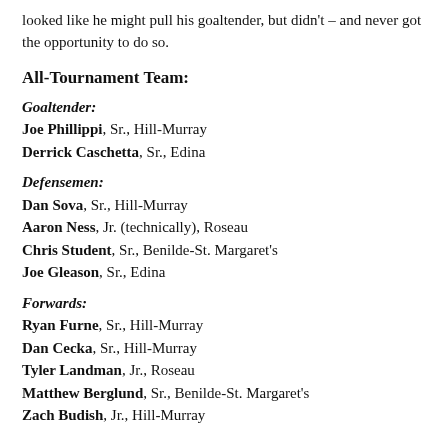looked like he might pull his goaltender, but didn't – and never got the opportunity to do so.
All-Tournament Team:
Goaltender:
Joe Phillippi, Sr., Hill-Murray
Derrick Caschetta, Sr., Edina
Defensemen:
Dan Sova, Sr., Hill-Murray
Aaron Ness, Jr. (technically), Roseau
Chris Student, Sr., Benilde-St. Margaret's
Joe Gleason, Sr., Edina
Forwards:
Ryan Furne, Sr., Hill-Murray
Dan Cecka, Sr., Hill-Murray
Tyler Landman, Jr., Roseau
Matthew Berglund, Sr., Benilde-St. Margaret's
Zach Budish, Jr., Hill-Murray